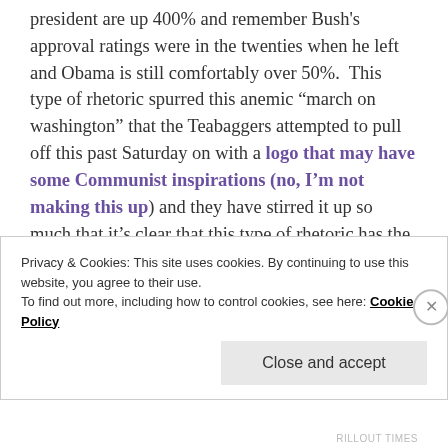president are up 400% and remember Bush's approval ratings were in the twenties when he left and Obama is still comfortably over 50%.  This type of rhetoric spurred this anemic “march on washington” that the Teabaggers attempted to pull off this past Saturday on with a logo that may have some Communist inspirations (no, I’m not making this up) and they have stirred it up so much that it’s clear that this type of rhetoric has the Democrats and progressives on the ropes.  At least on the Teabggin front, I think we’ve started to see the steam run out of that movement–if it ever was one in the
Privacy & Cookies: This site uses cookies. By continuing to use this website, you agree to their use. To find out more, including how to control cookies, see here: Cookie Policy
Close and accept